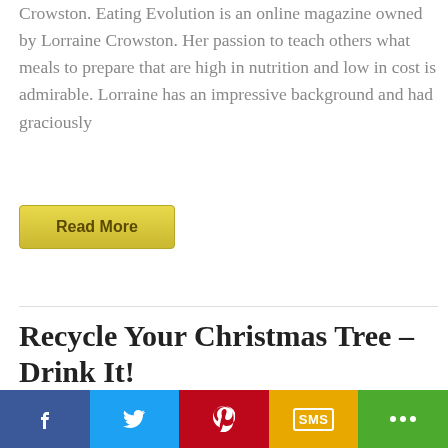Crowston. Eating Evolution is an online magazine owned by Lorraine Crowston. Her passion to teach others what meals to prepare that are high in nutrition and low in cost is admirable. Lorraine has an impressive background and had graciously
Read More
Recycle Your Christmas Tree – Drink It!
Jan 07, 2012   by Karen
18 Comments